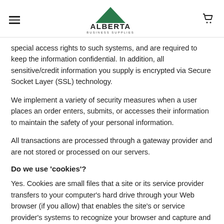Alberta Business Supplies
special access rights to such systems, and are required to keep the information confidential. In addition, all sensitive/credit information you supply is encrypted via Secure Socket Layer (SSL) technology.
We implement a variety of security measures when a user places an order enters, submits, or accesses their information to maintain the safety of your personal information.
All transactions are processed through a gateway provider and are not stored or processed on our servers.
Do we use 'cookies'?
Yes. Cookies are small files that a site or its service provider transfers to your computer's hard drive through your Web browser (if you allow) that enables the site's or service provider's systems to recognize your browser and capture and remember certain information. For instance, we use cookies to help us remember and process the items in your shopping cart. They are also used to help